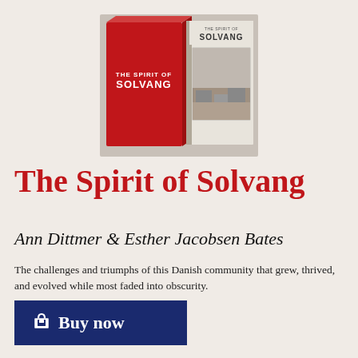[Figure (photo): Book cover image showing 'The Spirit of Solvang' — a red hardcover box set alongside an open book with a vintage black-and-white photo on the cover]
The Spirit of Solvang
Ann Dittmer & Esther Jacobsen Bates
The challenges and triumphs of this Danish community that grew, thrived, and evolved while most faded into obscurity.
Buy now